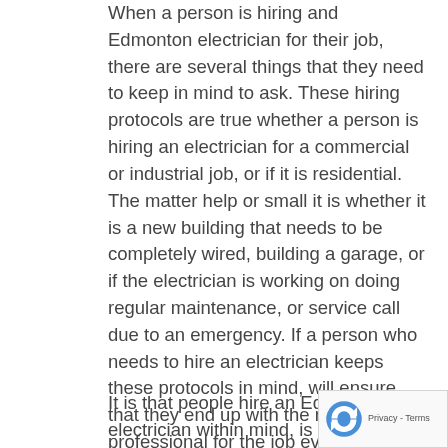When a person is hiring and Edmonton electrician for their job, there are several things that they need to keep in mind to ask. These hiring protocols are true whether a person is hiring an electrician for a commercial or industrial job, or if it is residential. The matter help or small it is whether it is a new building that needs to be completely wired, building a garage, or if the electrician is working on doing regular maintenance, or service call due to an emergency. If a person who needs to hire an electrician keeps these protocols in mind, will ensure that they end up with the right professional for the job every single time.
It is that people hire an Edmonton electrician within mind, is safety. If they are not working safely, they should not be working at all. Therefore, people need to ensure that whichever Edmonton electrician they hire is able to follow safety procedures or protocols consistently. There is actually a certification that is